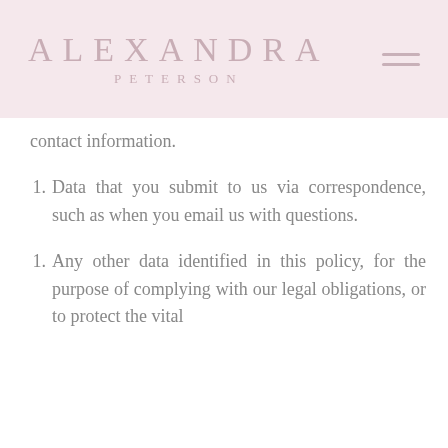ALEXANDRA PETERSON
contact information.
Data that you submit to us via correspondence, such as when you email us with questions.
Any other data identified in this policy, for the purpose of complying with our legal obligations, or to protect the vital